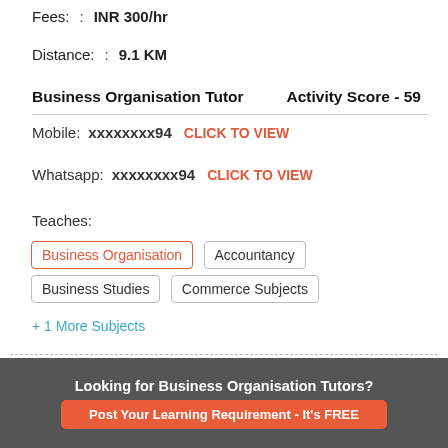Fees: : INR 300/hr
Distance: : 9.1 KM
Business Organisation Tutor   Activity Score - 59
Mobile: xxxxxxxx94   CLICK TO VIEW
Whatsapp: xxxxxxxx94   CLICK TO VIEW
Teaches:
Business Organisation
Accountancy
Business Studies
Commerce Subjects
+ 1 More Subjects
REQUEST A CALLBACK
SEND MESSAGE
VIEW MORE
Looking for Business Organisation Tutors?
Post Your Learning Requirement - It's FREE